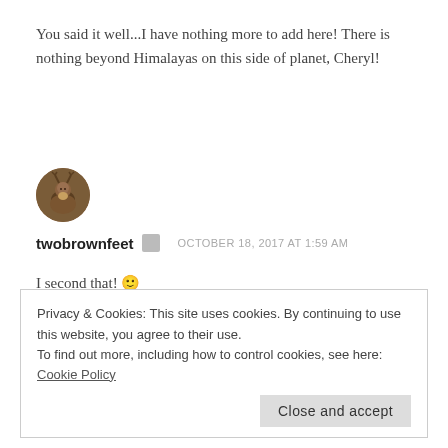You said it well...I have nothing more to add here! There is nothing beyond Himalayas on this side of planet, Cheryl!
[Figure (photo): Circular avatar image of a deer/stag, brown tones]
twobrownfeet  OCTOBER 18, 2017 AT 1:59 AM
I second that! 🙂
Privacy & Cookies: This site uses cookies. By continuing to use this website, you agree to their use.
To find out more, including how to control cookies, see here: Cookie Policy
Close and accept